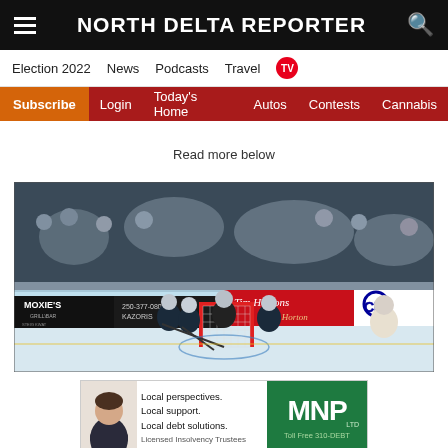NORTH DELTA REPORTER
Election 2022  News  Podcasts  Travel  TV
Subscribe  Login  Today's Home  Autos  Contests  Cannabis
Read more below
[Figure (photo): Hockey game photo showing players around the net at an indoor rink, with rink-board advertisements including Moxie's Grill & Bar, 250-377-080, Kazoris, Tim Hortons, and CIBC visible.]
[Figure (photo): Advertisement for MNP Ltd - Local perspectives. Local support. Local debt solutions. Licensed Insolvency Trustees. Toll Free 310-DEBT.]